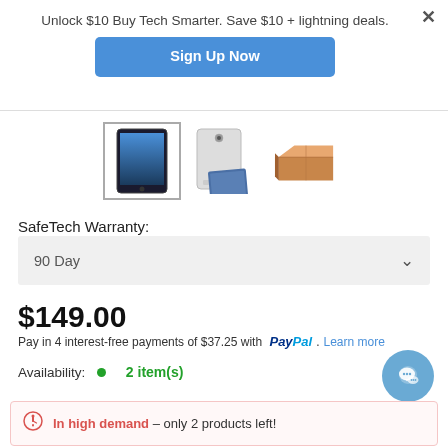Unlock $10 Buy Tech Smarter. Save $10 + lightning deals.
Sign Up Now
[Figure (photo): Three product thumbnails: iPad tablet front view, iPad back view, and a cardboard box packaging.]
SafeTech Warranty:
90 Day
$149.00
Pay in 4 interest-free payments of $37.25 with PayPal. Learn more
Availability: 2 item(s)
In high demand – only 2 products left!